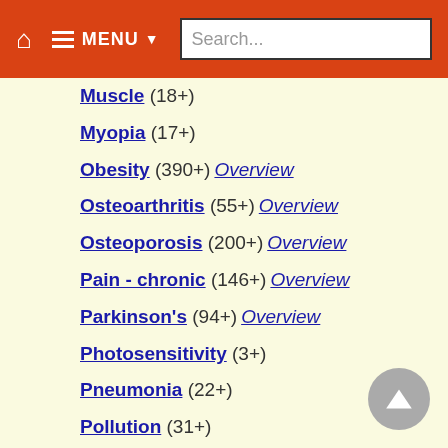MENU | Search...
Muscle (18+)
Myopia (17+)
Obesity (390+) Overview
Osteoarthritis (55+) Overview
Osteoporosis (200+) Overview
Pain - chronic (146+) Overview
Parkinson's (94+) Overview
Photosensitivity (3+)
Pneumonia (22+)
Pollution (31+)
Pregnancy (823+) Overview
Psoriasis (60+)
Raynaud's (4+)